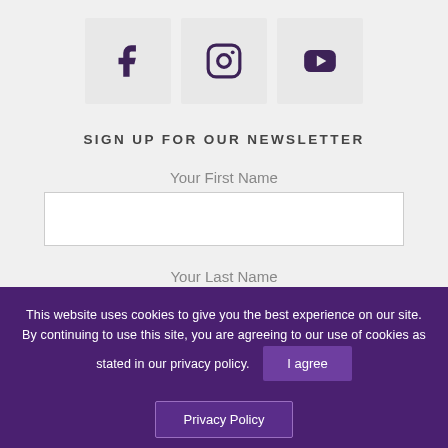[Figure (infographic): Three social media icons in light grey square boxes: Facebook (f), Instagram (camera), YouTube (play button triangle)]
SIGN UP FOR OUR NEWSLETTER
Your First Name
Your Last Name
This website uses cookies to give you the best experience on our site. By continuing to use this site, you are agreeing to our use of cookies as stated in our privacy policy.
I agree
Privacy Policy